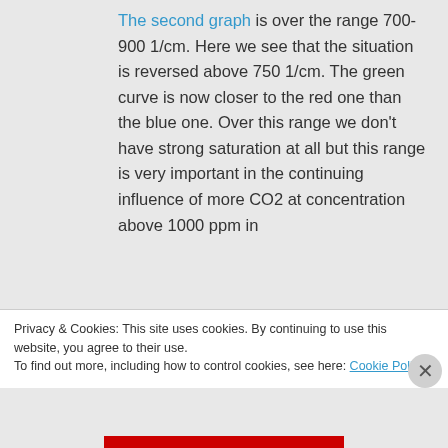The second graph is over the range 700-900 1/cm. Here we see that the situation is reversed above 750 1/cm. The green curve is now closer to the red one than the blue one. Over this range we don't have strong saturation at all but this range is very important in the continuing influence of more CO2 at concentration above 1000 ppm in the...
Privacy & Cookies: This site uses cookies. By continuing to use this website, you agree to their use. To find out more, including how to control cookies, see here: Cookie Policy